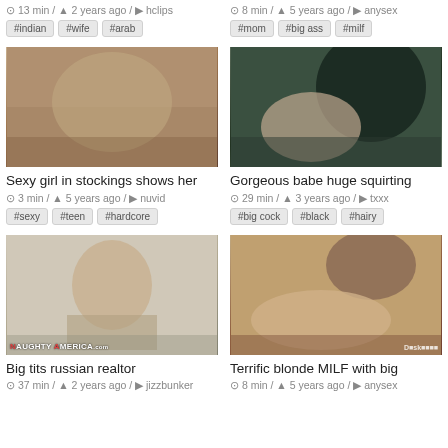13 min / 2 years ago / hclips
#indian #wife #arab
8 min / 5 years ago / anysex
#mom #big ass #milf
[Figure (photo): Thumbnail image for adult video]
Sexy girl in stockings shows her
3 min / 5 years ago / nuvid
#sexy #teen #hardcore
[Figure (photo): Thumbnail image for adult video]
Gorgeous babe huge squirting
29 min / 3 years ago / txxx
#big cock #black #hairy
[Figure (photo): Thumbnail image for adult video - woman in professional attire]
Big tits russian realtor
37 min / 2 years ago / jizzbunker
[Figure (photo): Thumbnail image for adult video - blonde woman]
Terrific blonde MILF with big
8 min / 5 years ago / anysex